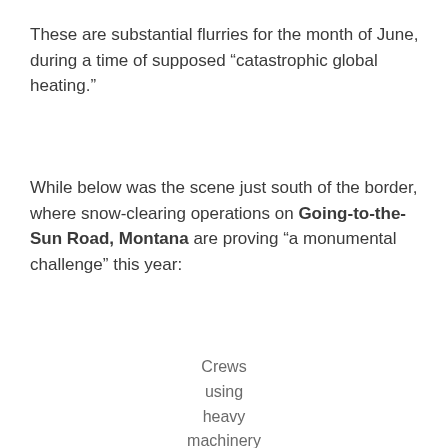These are substantial flurries for the month of June, during a time of supposed “catastrophic global heating.”
While below was the scene just south of the border, where snow-clearing operations on Going-to-the-Sun Road, Montana are proving “a monumental challenge” this year:
Crews using heavy machinery to clear substantial snow from Going-to-the-Sun